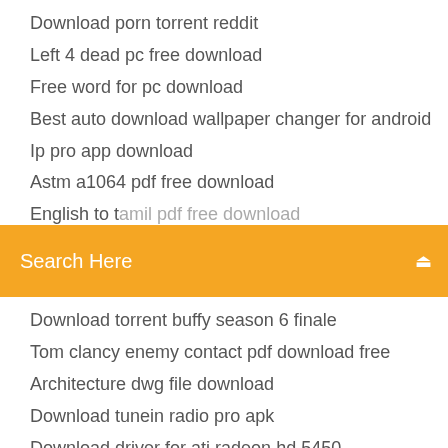Download porn torrent reddit
Left 4 dead pc free download
Free word for pc download
Best auto download wallpaper changer for android
Ip pro app download
Astm a1064 pdf free download
English to tamil pdf free download (partial/cut off)
[Figure (screenshot): Orange search bar with text 'Search Here' and a search icon on the right]
Download torrent buffy season 6 finale
Tom clancy enemy contact pdf download free
Architecture dwg file download
Download tunein radio pro apk
Download driver for ati radeon hd 5450
Pc engine cd iso download
Full opera browser download
Wisair wireless usb driver download
Comfast cf-926ac driver download
Mgs3 2002 pc download